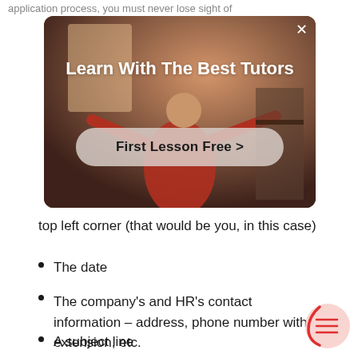application process, you must never lose sight of
[Figure (screenshot): Advertisement overlay showing a person in a room with text 'Learn With The Best Tutors' and a 'First Lesson Free >' button on a warm-toned background.]
top left corner (that would be you, in this case)
The date
The company's and HR's contact information – address, phone number with extension, etc.
A subject line
A greeting